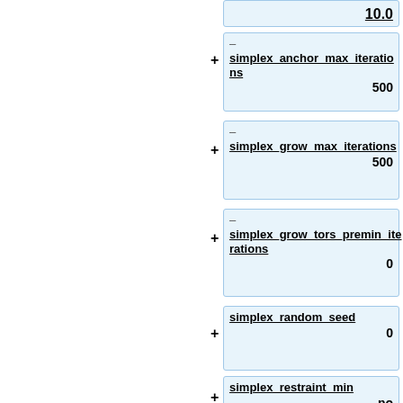10.0
– simplex_anchor_max_iterations  500
– simplex_grow_max_iterations  500
– simplex_grow_tors_premin_iterations  0
simplex_random_seed  0
simplex_restraint_min  no
atom_model  all